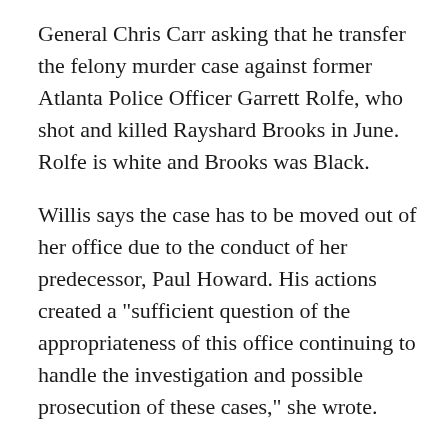General Chris Carr asking that he transfer the felony murder case against former Atlanta Police Officer Garrett Rolfe, who shot and killed Rayshard Brooks in June. Rolfe is white and Brooks was Black.
Willis says the case has to be moved out of her office due to the conduct of her predecessor, Paul Howard. His actions created a "sufficient question of the appropriateness of this office continuing to handle the investigation and possible prosecution of these cases," she wrote.
She says Howard's conduct, including using video evidence in a campaign television ad, may have violated a Georgia Bar Rule stating that a prosecutor in a criminal case should refrain from making "extrajudicial comments that have a substantial likelihood of heightening public condemnation of